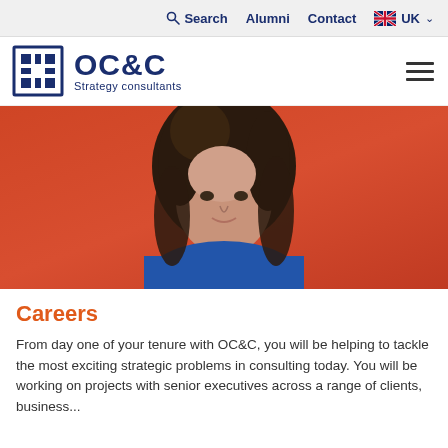Search  Alumni  Contact  UK
[Figure (logo): OC&C Strategy Consultants logo with blue grid icon and text]
[Figure (photo): Portrait photo of a young woman with dark curly hair wearing a blue top, against an orange/red background]
Careers
From day one of your tenure with OC&C, you will be helping to tackle the most exciting strategic problems in consulting today. You will be working on projects with senior executives across a range of clients, business...